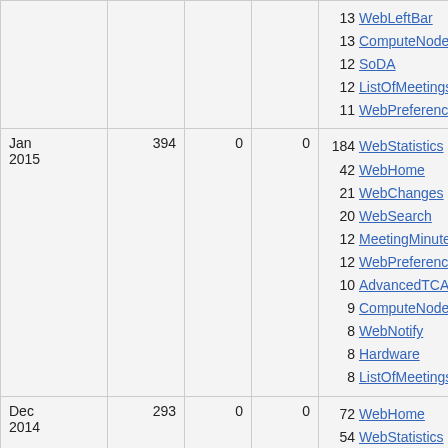| Month | Views | Saves | Uploads | Top pages |
| --- | --- | --- | --- | --- |
|  |  |  |  | 13 WebLeftBar
13 ComputeNode
12 SoDA
12 ListOfMeetings
11 WebPreferences |
| Jan 2015 | 394 | 0 | 0 | 184 WebStatistics
42 WebHome
21 WebChanges
20 WebSearch
12 MeetingMinutes
12 WebPreferences
10 AdvancedTCA
9 ComputeNodeLegacy
8 WebNotify
8 Hardware
8 ListOfMeetings |
| Dec 2014 | 293 | 0 | 0 | 72 WebHome
54 WebStatistics
33 WebChanges
14 WebSearch
11 Hardware
11 ComputeNode |